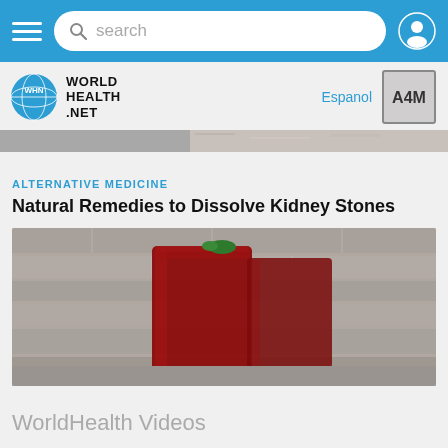search
[Figure (logo): World Health Net logo with globe icon and WHN letters]
Espanol
[Figure (logo): A4M logo box]
[Figure (photo): Partial strip of a blurred/cropped photo]
ALTERNATIVE MEDICINE
Natural Remedies to Dissolve Kidney Stones
[Figure (photo): Photo of a dark red cranberry juice drink in a glass with mint garnish and cranberries on the side, on a rustic background]
WorldHealth Videos